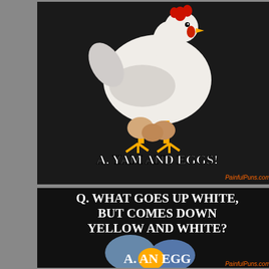[Figure (photo): Meme image of a chicken sitting on eggs with text 'A. YAM AND EGGS!' on black background, with PainfulPuns.com watermark]
[Figure (photo): Meme image showing a broken egg with yolk and text 'Q. WHAT GOES UP WHITE, BUT COMES DOWN YELLOW AND WHITE?' and 'A. AN EGG' on black background, with PainfulPuns.com watermark]
You've mourned toasty jokes, and
More Painful
| Bacteria Jokes | Colorado | Jokes About Jokes | Ma | Road Jokes | Sci-Fi Joke
[Figure (photo): Banner for 'CLUCKING FUN FARM ANIMAL PU' with chicken image on black background]
[Figure (photo): Banner for 'GARDEN PUNS GREEN GROWNER' with dandelion flowers on black background]
Thank
Join us on soc